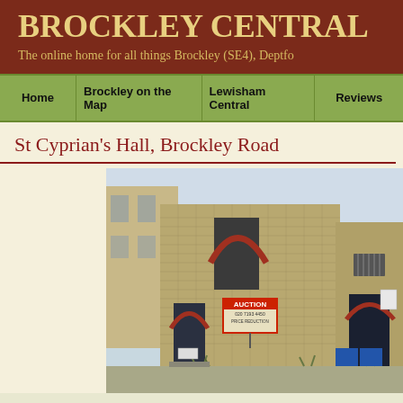BROCKLEY CENTRAL
The online home for all things Brockley (SE4), Deptfo...
Home | Brockley on the Map | Lewisham Central | Reviews
St Cyprian's Hall, Brockley Road
[Figure (photo): Photograph of St Cyprian's Hall on Brockley Road, a Victorian brick building with Gothic arched windows and doorways. An AUCTION sign is visible on the facade. Blue doors are visible on the right side.]